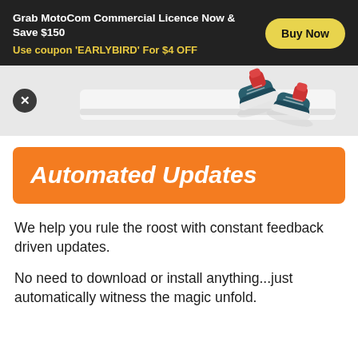Grab MotoCom Commercial Licence Now & Save $150
Use coupon 'EARLYBIRD' For $4 OFF
[Figure (illustration): Illustration of sneakers/shoes falling on a surface, with a close (X) button on the left]
Automated Updates
We help you rule the roost with constant feedback driven updates.
No need to download or install anything...just automatically witness the magic unfold.